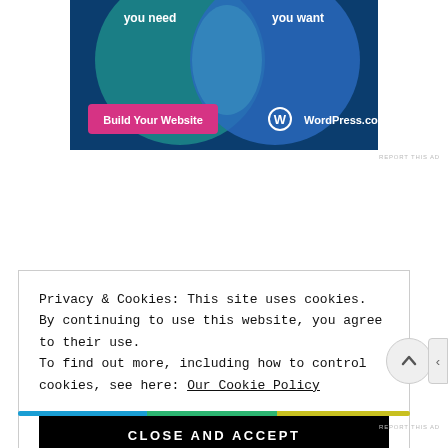[Figure (illustration): WordPress.com advertisement banner with teal and blue gradient background showing two overlapping circles, text 'you need' and 'you want', a pink 'Build Your Website' button, and WordPress.com logo]
REPORT THIS AD
Privacy & Cookies: This site uses cookies. By continuing to use this website, you agree to their use.
To find out more, including how to control cookies, see here: Our Cookie Policy
CLOSE AND ACCEPT
REPORT THIS AD